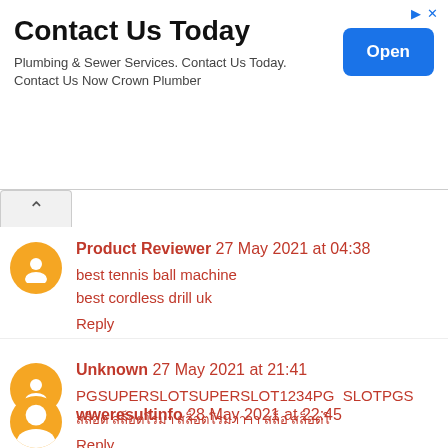[Figure (screenshot): Advertisement banner: Contact Us Today - Plumbing & Sewer Services with Open button]
Contact Us Today
Plumbing & Sewer Services. Contact Us Today. Contact Us Now Crown Plumber
Product Reviewer 27 May 2021 at 04:38
best tennis ball machine
best cordless drill uk
Reply
Unknown 27 May 2021 at 21:41
PGSUPERSLOTSUPERSLOT1234PG SLOTPGS...
[Thai text]
Reply
wweresultinfo 28 May 2021 at 22:45